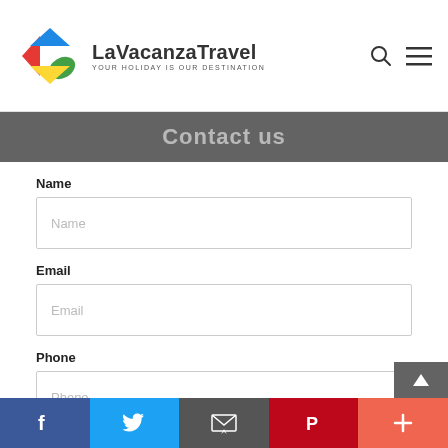LaVacanzaTravel — YOUR HOLIDAY IS OUR DESTINATION
Contact us
Name
Name (placeholder)
Email
Email (placeholder)
Phone
Phone (placeholder)
Query
Query (placeholder)
f  (Twitter bird)  (envelope)  P  +